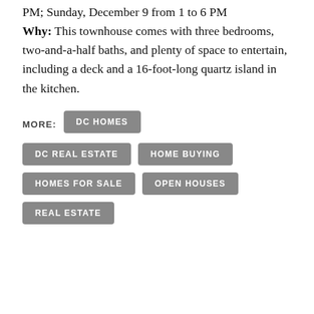PM; Sunday, December 9 from 1 to 6 PM Why: This townhouse comes with three bedrooms, two-and-a-half baths, and plenty of space to entertain, including a deck and a 16-foot-long quartz island in the kitchen.
MORE: DC HOMES
DC REAL ESTATE
HOME BUYING
HOMES FOR SALE
OPEN HOUSES
REAL ESTATE